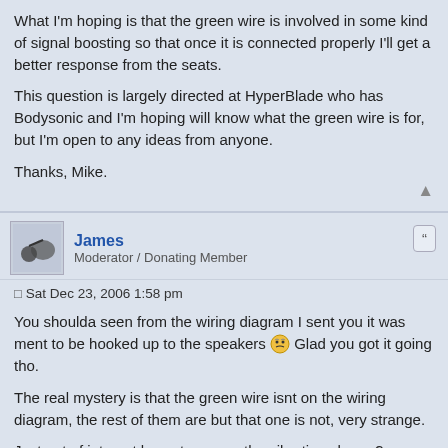What I'm hoping is that the green wire is involved in some kind of signal boosting so that once it is connected properly I'll get a better response from the seats.

This question is largely directed at HyperBlade who has Bodysonic and I'm hoping will know what the green wire is for, but I'm open to any ideas from anyone.

Thanks, Mike.
James
Moderator / Donating Member
Sat Dec 23, 2006 1:58 pm
You shoulda seen from the wiring diagram I sent you it was ment to be hooked up to the speakers 😲 Glad you got it going tho.

The real mystery is that the green wire isnt on the wiring diagram, the rest of them are but that one is not, very strange.

Just out of interest how strong are the vibrations hyper?
Hyperblade
Moderator / Donating Member